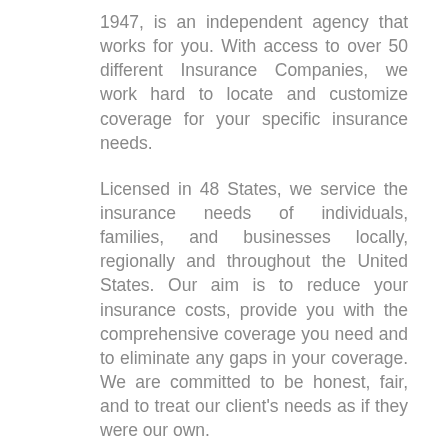1947, is an independent agency that works for you. With access to over 50 different Insurance Companies, we work hard to locate and customize coverage for your specific insurance needs.
Licensed in 48 States, we service the insurance needs of individuals, families, and businesses locally, regionally and throughout the United States. Our aim is to reduce your insurance costs, provide you with the comprehensive coverage you need and to eliminate any gaps in your coverage. We are committed to be honest, fair, and to treat our client's needs as if they were our own.
We handle many different types of insurance. Below is a list of just some of the areas we cover. If you would like to learn more about a